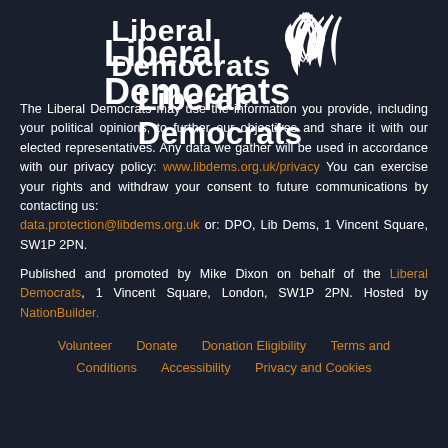[Figure (logo): Liberal Democrats logo with white bird/flame motif and text 'Liberal Democrats']
The Liberal Democrats may use the information you provide, including your political opinions, to further our objectives and share it with our elected representatives. Any data we gather will be used in accordance with our privacy policy: www.libdems.org.uk/privacy You can exercise your rights and withdraw your consent to future communications by contacting us: data.protection@libdems.org.uk or: DPO, Lib Dems, 1 Vincent Square, SW1P 2PN.
Published and promoted by Mike Dixon on behalf of the Liberal Democrats, 1 Vincent Square, London, SW1P 2PN. Hosted by NationBuilder.
Volunteer   Donate   Donation Eligibility   Terms and Conditions   Accessibility   Privacy and Cookies